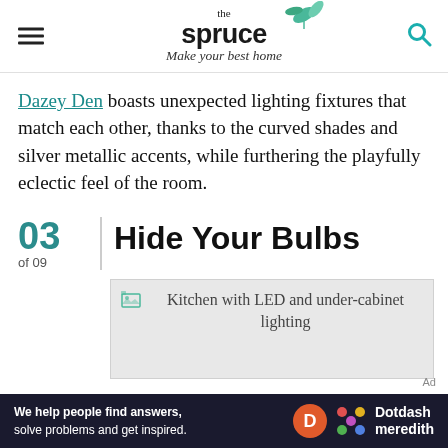the spruce — Make your best home
Dazey Den boasts unexpected lighting fixtures that match each other, thanks to the curved shades and silver metallic accents, while furthering the playfully eclectic feel of the room.
03 of 09 | Hide Your Bulbs
[Figure (photo): Kitchen with LED and under-cabinet lighting — image placeholder]
We help people find answers, solve problems and get inspired. | Dotdash meredith